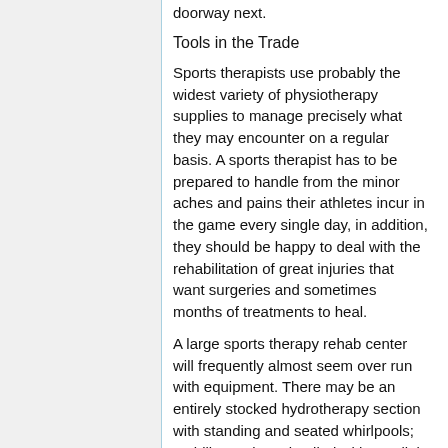doorway next.
Tools in the Trade
Sports therapists use probably the widest variety of physiotherapy supplies to manage precisely what they may encounter on a regular basis. A sports therapist has to be prepared to handle from the minor aches and pains their athletes incur in the game every single day, in addition, they should be happy to deal with the rehabilitation of great injuries that want surgeries and sometimes months of treatments to heal.
A large sports therapy rehab center will frequently almost seem over run with equipment. There may be an entirely stocked hydrotherapy section with standing and seated whirlpools; mobility stations detailed with parallel bars, standers and stair training equipment;